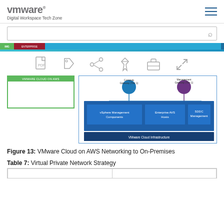VMware Digital Workspace Tech Zone
[Figure (screenshot): VMware Digital Workspace Tech Zone website header with VMware logo, search bar, navigation bar with green/red/blue sections, and toolbar icons (PDF, tag, share, pin, briefcase, expand)]
[Figure (engineering-diagram): VMware Cloud on AWS networking architecture diagram showing Compute Gateway (Tier 1), Management Gateway (Tier 1), vSphere Management Components, Enterprise AVS Hosts, SDDC Management, and VMware Cloud Infrastructure layers]
Figure 13: VMware Cloud on AWS Networking to On-Premises
Table 7: Virtual Private Network Strategy